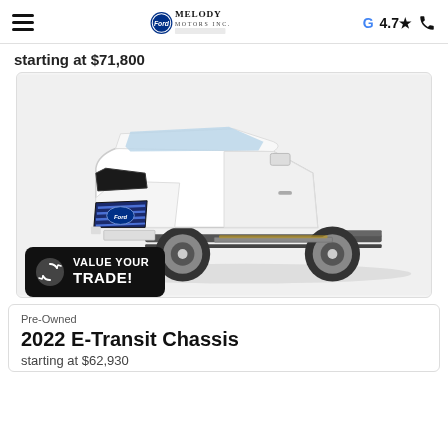Melody Motors Inc. — G 4.7★ 📞
starting at $71,800
[Figure (photo): White Ford E-Transit Chassis cab truck, side/front 3/4 view, no cargo box, showing chassis frame rails, on white background]
VALUE YOUR TRADE!
2022 E-Transit Chassis
starting at $62,930